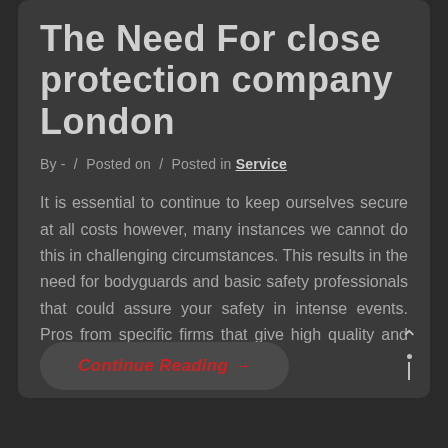The Need For close protection company London
By - / Posted on / Posted in Service
It is essential to continue to keep ourselves secure at all costs however, many instances we cannot do this in challenging circumstances. This results in the need for bodyguards and basic safety professionals that could assure your safety in intense events. Pros from specific firms that give high quality and confidential safety to folks could
Continue Reading →